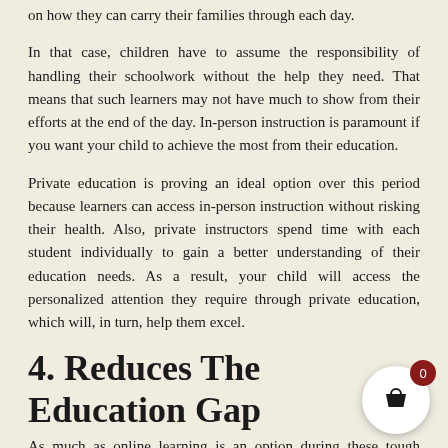on how they can carry their families through each day.
In that case, children have to assume the responsibility of handling their schoolwork without the help they need. That means that such learners may not have much to show from their efforts at the end of the day. In-person instruction is paramount if you want your child to achieve the most from their education.
Private education is proving an ideal option over this period because learners can access in-person instruction without risking their health. Also, private instructors spend time with each student individually to gain a better understanding of their education needs. As a result, your child will access the personalized attention they require through private education, which will, in turn, help them excel.
4. Reduces The Education Gap
As much as online learning is an option during these tough times, some learners do not have the tools they need to access lessons. In some cases, the presence of a parent or grown-up while online lessons are underway is critical because learners may require help from a parent or guardian, as some children do not have that.